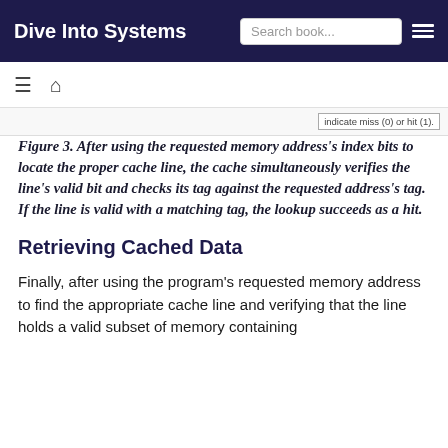Dive Into Systems
Figure 3.  After using the requested memory address's index bits to locate the proper cache line, the cache simultaneously verifies the line's valid bit and checks its tag against the requested address's tag. If the line is valid with a matching tag, the lookup succeeds as a hit.
Retrieving Cached Data
Finally, after using the program's requested memory address to find the appropriate cache line and verifying that the line holds a valid subset of memory containing